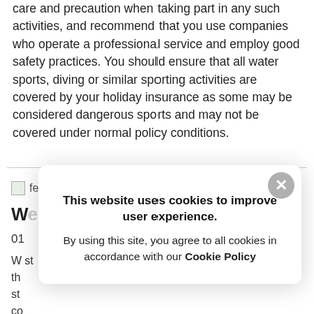care and precaution when taking part in any such activities, and recommend that you use companies who operate a professional service and employ good safety practices. You should ensure that all water sports, diving or similar sporting activities are covered by your holiday insurance as some may be considered dangerous sports and may not be covered under normal policy conditions.
[Figure (screenshot): A cookie consent popup overlay with close button, title 'This website uses cookies to improve user experience.' and body text 'By using this site, you agree to all cookies in accordance with our Cookie Policy']